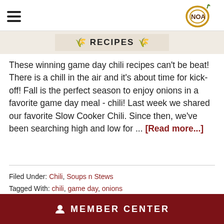NOA (National Onion Association)
[Figure (logo): NOA logo - circular gold/yellow design with onion graphic and NOA text in brown]
RECIPES
These winning game day chili recipes can't be beat! There is a chill in the air and it's about time for kick-off! Fall is the perfect season to enjoy onions in a favorite game day meal - chili! Last week we shared our favorite Slow Cooker Chili. Since then, we've been searching high and low for ... [Read more...]
Filed Under: Chili, Soups n Stews
Tagged With: chili, game day, onions
MEMBER CENTER